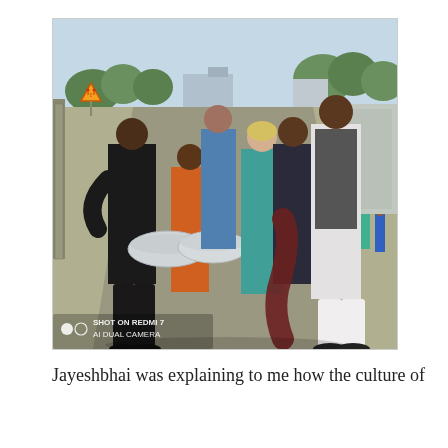[Figure (photo): A group of people walking on a village road in India. Several men and a woman with blonde hair are walking together, some carrying large metal bowls. Trees and buildings visible in the background. A pedestrian crossing warning sign is visible on the left. Camera watermark shows 'SHOT ON REDMI 7 AI DUAL CAMERA'.]
Jayeshbhai was explaining to me how the culture of